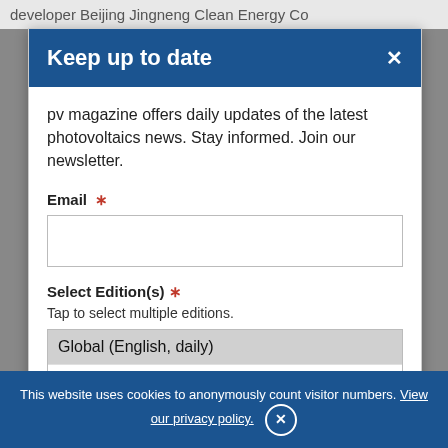developer Beijing Jingneng Clean Energy Co
Keep up to date
pv magazine offers daily updates of the latest photovoltaics news. Stay informed. Join our newsletter.
Email *
Select Edition(s) *
Tap to select multiple editions.
Global (English, daily)
Germany (German, daily)
Read our Data Protection Policy
This website uses cookies to anonymously count visitor numbers. View our privacy policy.